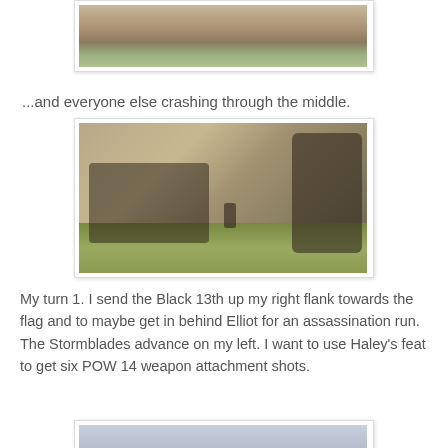[Figure (photo): Top partial photo of wargaming miniatures on a game board with terrain, cropped at top]
...and everyone else crashing through the middle.
[Figure (photo): Photo of wargaming miniatures on a green game board, showing infantry units and a large mech/warjack figure on the right side]
My turn 1. I send the Black 13th up my right flank towards the flag and to maybe get in behind Elliot for an assassination run. The Stormblades advance on my left. I want to use Haley's feat to get six POW 14 weapon attachment shots.
[Figure (photo): Partial photo at bottom of page showing more wargaming miniatures, partially visible]